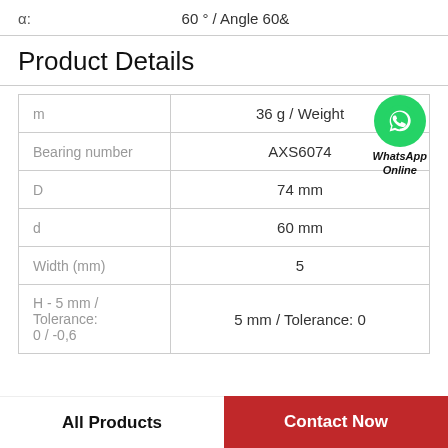α:    60 ° / Angle 60&
Product Details
| Property | Value |
| --- | --- |
| m | 36 g / Weight |
| Bearing number | AXS6074 |
| D | 74 mm |
| d | 60 mm |
| Width (mm) | 5 |
| H - 5 mm / Tolerance: 0 / -0,6 | 5 mm / Tolerance: 0 |
[Figure (logo): WhatsApp Online green circle logo with phone icon and text 'WhatsApp Online']
All Products
Contact Now